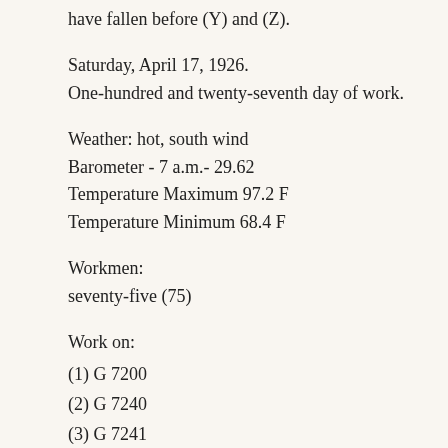have fallen before (Y) and (Z).
Saturday, April 17, 1926.
One-hundred and twenty-seventh day of work.
Weather: hot, south wind
Barometer - 7 a.m.- 29.62
Temperature Maximum 97.2 F
Temperature Minimum 68.4 F
Workmen:
seventy-five (75)
Work on:
(1) G 7200
(2) G 7240
(3) G 7241
(4) G 7000 X